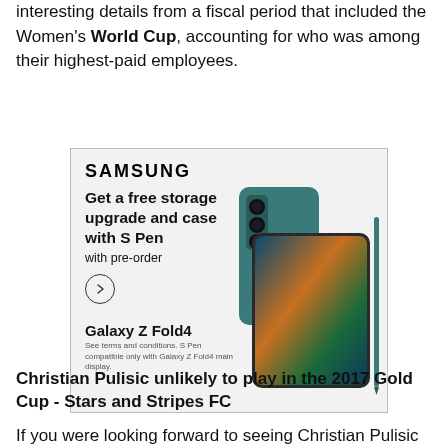interesting details from a fiscal period that included the Women's World Cup, accounting for who was among their highest-paid employees.
[Figure (illustration): Samsung advertisement for Galaxy Z Fold4. Shows Samsung logo, text 'Get a free storage upgrade and case with S Pen with pre-order', a circular arrow button, the Galaxy Z Fold4 phone image, and fine print about terms and conditions.]
Christian Pulisic unlikely to play in the 2017 Gold Cup - Stars and Stripes FC
If you were looking forward to seeing Christian Pulisic